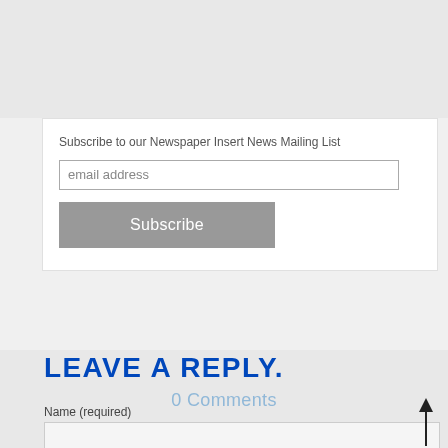Subscribe to our Newspaper Insert News Mailing List
email address
Subscribe
0 Comments
LEAVE A REPLY.
Name (required)